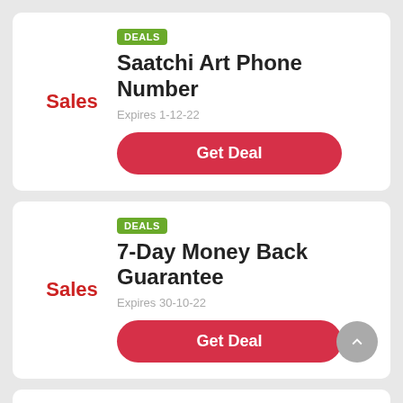DEALS
Saatchi Art Phone Number
Sales
Expires 1-12-22
Get Deal
DEALS
7-Day Money Back Guarantee
Sales
Expires 30-10-22
Get Deal
DEALS